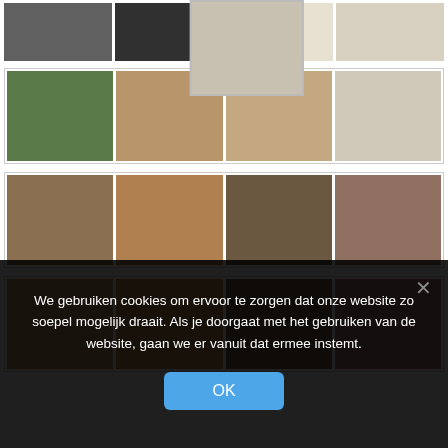[Figure (photo): Real estate property photo gallery showing multiple rooms: exterior/garden, interior living spaces, dining area, kitchen, bathroom, staircase, and attic. Website screenshot with cookie consent overlay.]
We gebruiken cookies om ervoor te zorgen dat onze website zo soepel mogelijk draait. Als je doorgaat met het gebruiken van de website, gaan we er vanuit dat ermee instemt.
OK